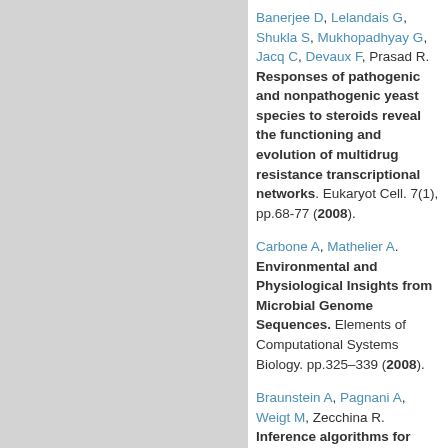Banerjee D, Lelandais G, Shukla S, Mukhopadhyay G, Jacq C, Devaux F, Prasad R. Responses of pathogenic and nonpathogenic yeast species to steroids reveal the functioning and evolution of multidrug resistance transcriptional networks. Eukaryot Cell. 7(1), pp.68-77 (2008).
Carbone A, Mathelier A. Environmental and Physiological Insights from Microbial Genome Sequences. Elements of Computational Systems Biology. pp.325–339 (2008).
Braunstein A, Pagnani A, Weigt M, Zecchina R. Inference algorithms for gene networks: a statistical mechanics analysis. Journal of Statistical Mechanics: Theory and Experiment. 2008, pp.P12001 (2008).
Salin H, Fardeau V, Piccini E, Lelandais G, Tanty V, Lemoine S, Jacq C, Devaux F. Structure and properties of transcriptional networks driving selenite